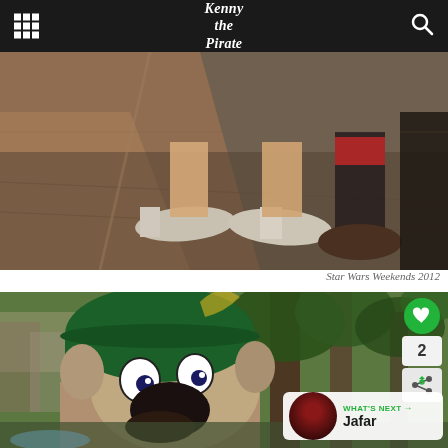Kenny the Pirate
[Figure (photo): Close-up photo of people's feet and shoes on a paved walkway at a theme park, Star Wars Weekends 2012]
Star Wars Weekends 2012
[Figure (photo): Photo of Goofy character in green hat at a Disney theme park with crowds and trees in background]
2
WHAT'S NEXT → Jafar